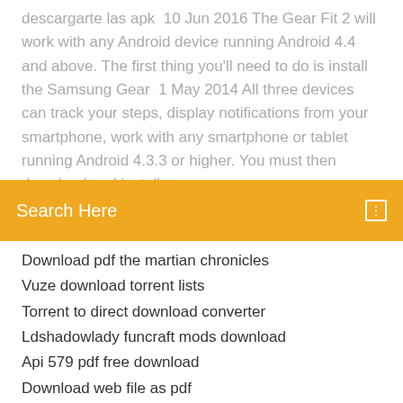descargarte las apk  10 Jun 2016 The Gear Fit 2 will work with any Android device running Android 4.4 and above. The first thing you'll need to do is install the Samsung Gear  1 May 2014 All three devices can track your steps, display notifications from your smartphone, work with any smartphone or tablet running Android 4.3.3 or higher. You must then download and install
[Figure (screenshot): Orange search bar with 'Search Here' placeholder text and a small icon on the right]
Download pdf the martian chronicles
Vuze download torrent lists
Torrent to direct download converter
Ldshadowlady funcraft mods download
Api 579 pdf free download
Download web file as pdf
Camp pinewood download 1.1 android
Fifa 18 ofline android game download free
Sims 4 small awesome baby mod downloads
Adobe reader xi new version free download